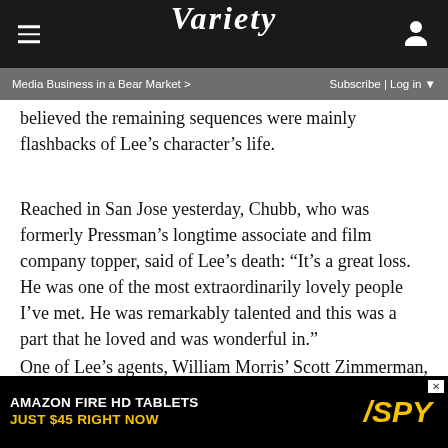VARIETY
Media Business in a Bear Market >    Subscribe | Log in
believed the remaining sequences were mainly flashbacks of Lee’s character’s life.
Reached in San Jose yesterday, Chubb, who was formerly Pressman’s longtime associate and film company topper, said of Lee’s death: “It’s a great loss. He was one of the most extraordinarily lovely people I’ve met. He was remarkably talented and this was a part that he loved and was wonderful in.”
One of Lee’s agents, William Morris’ Scott Zimmerman, referred to the actor as “an incredibly thoughtful and special person, wise beyond his years, genuinely interested in people. He was one of the greats.”
[Figure (screenshot): Amazon Fire HD Tablets advertisement - Just $45 Right Now - SPY]